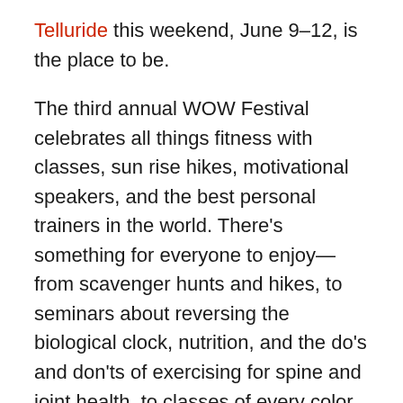Telluride this weekend, June 9–12, is the place to be.
The third annual WOW Festival celebrates all things fitness with classes, sun rise hikes, motivational speakers, and the best personal trainers in the world. There's something for everyone to enjoy—from scavenger hunts and hikes, to seminars about reversing the biological clock, nutrition, and the do's and don'ts of exercising for spine and joint health, to classes of every color for every athletic level in yoga, Pilates, cycling, and even gyrokinesis. You can see the whole schedule here.
This year's inspiring presenters include world-class mountaineer Hilaree O'Neill, whose expeditions on Everest and beyond have captured the hearts and minds of aspiring climbers, skiers, and athletes; Shane